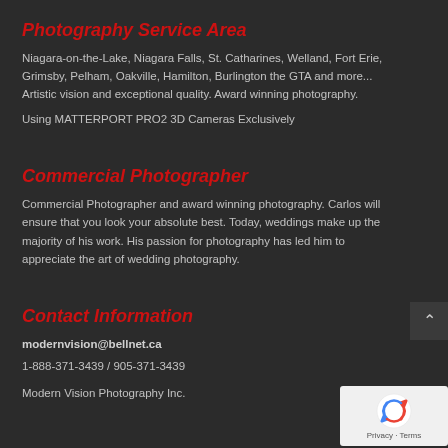Photography Service Area
Niagara-on-the-Lake, Niagara Falls, St. Catharines, Welland, Fort Erie, Grimsby, Pelham, Oakville, Hamilton, Burlington the GTA and more... Artistic vision and exceptional quality. Award winning photography.
Using MATTERPORT PRO2 3D Cameras Exclusively
Commercial Photographer
Commercial Photographer and award winning photography. Carlos will ensure that you look your absolute best. Today, weddings make up the majority of his work. His passion for photography has led him to appreciate the art of wedding photography.
Contact Information
modernvision@bellnet.ca
1-888-371-3439 / 905-371-3439
Modern Vision Photography Inc.